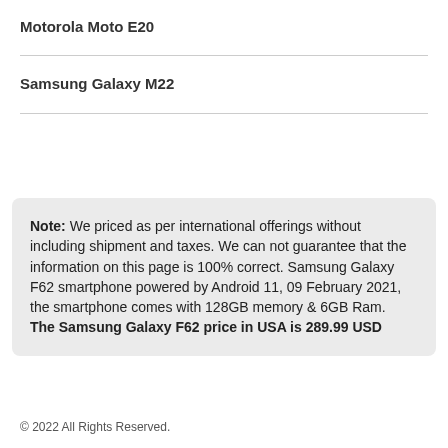Motorola Moto E20
Samsung Galaxy M22
Note: We priced as per international offerings without including shipment and taxes. We can not guarantee that the information on this page is 100% correct. Samsung Galaxy F62 smartphone powered by Android 11, 09 February 2021, the smartphone comes with 128GB memory & 6GB Ram. The Samsung Galaxy F62 price in USA is 289.99 USD
© 2022 All Rights Reserved.